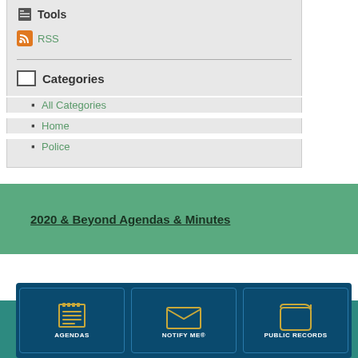Tools
RSS
Categories
All Categories
Home
Police
2020 & Beyond Agendas & Minutes
AGENDAS
NOTIFY ME®
PUBLIC RECORDS